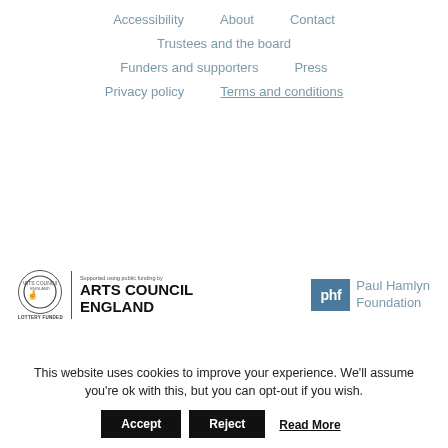Accessibility
About
Contact
Trustees and the board
Funders and supporters
Press
Privacy policy
Terms and conditions
[Figure (logo): Arts Council England Lottery Funded logo]
[Figure (logo): Paul Hamlyn Foundation (phf) logo]
This website uses cookies to improve your experience. We'll assume you're ok with this, but you can opt-out if you wish.
Accept | Reject | Read More